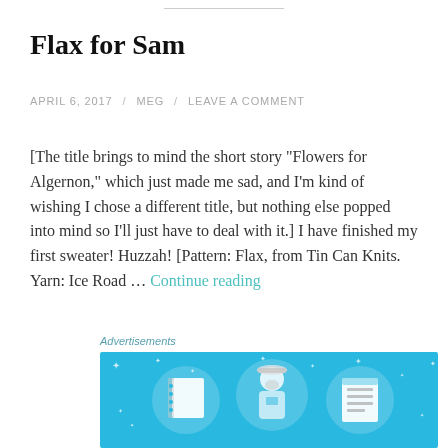Flax for Sam
APRIL 6, 2017 / MEG / LEAVE A COMMENT
[The title brings to mind the short story "Flowers for Algernon," which just made me sad, and I'm kind of wishing I chose a different title, but nothing else popped into mind so I'll just have to deal with it.] I have finished my first sweater! Huzzah! [Pattern: Flax, from Tin Can Knits. Yarn: Ice Road … Continue reading
Advertisements
[Figure (illustration): Advertisement banner with light blue background featuring illustrated icons: a notebook, a person wearing a hard hat, and a list/clipboard icon, with small sparkle dots scattered around]